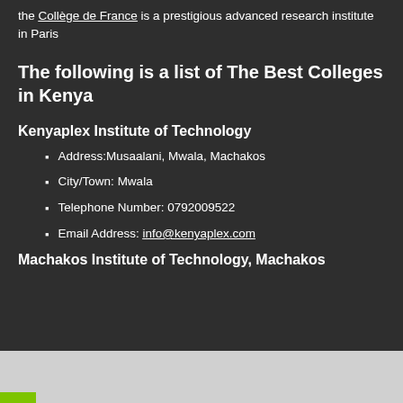the Collège de France is a prestigious advanced research institute in Paris
The following is a list of The Best Colleges in Kenya
Kenyaplex Institute of Technology
Address:Musaalani, Mwala, Machakos
City/Town: Mwala
Telephone Number: 0792009522
Email Address: info@kenyaplex.com
Machakos Institute of Technology, Machakos